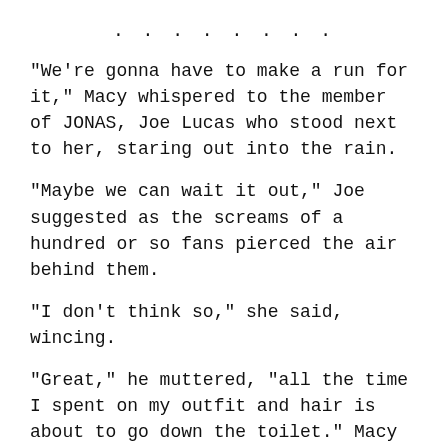........
“We’re gonna have to make a run for it,” Macy whispered to the member of JONAS, Joe Lucas who stood next to her, staring out into the rain.
“Maybe we can wait it out,” Joe suggested as the screams of a hundred or so fans pierced the air behind them.
“I don’t think so,” she said, wincing.
“Great,” he muttered, “all the time I spent on my outfit and hair is about to go down the toilet.” Macy looked at him and chuckled.
“I never knew you were such a girl,” she whispered. Joe glared at her, unamused by her comment. He almost missed the old Macy Misa, the fangirl who freaked out when she noticed he had started the conversation.